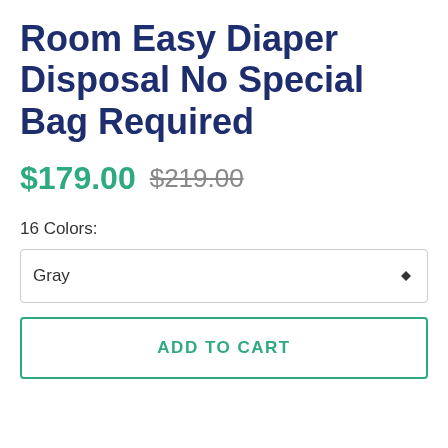Room Easy Diaper Disposal No Special Bag Required
$179.00  $219.00
16 Colors:
Gray
ADD TO CART